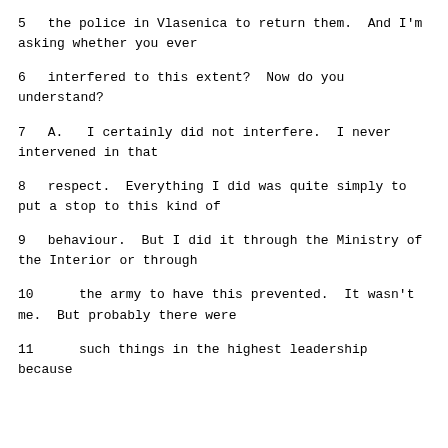5      the police in Vlasenica to return them.  And I'm asking whether you ever
6      interfered to this extent?  Now do you understand?
7      A.   I certainly did not interfere.  I never intervened in that
8      respect.  Everything I did was quite simply to put a stop to this kind of
9      behaviour.  But I did it through the Ministry of the Interior or through
10     the army to have this prevented.  It wasn't me.  But probably there were
11     such things in the highest leadership because